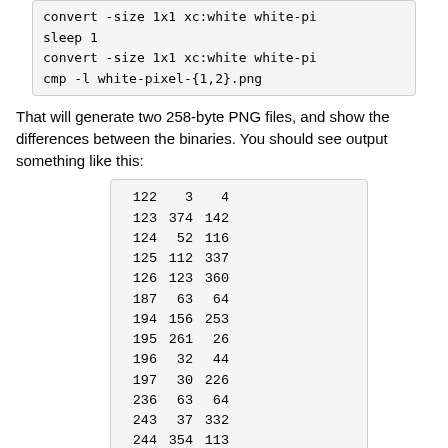convert -size 1x1 xc:white white-pi
sleep 1
convert -size 1x1 xc:white white-pi
cmp -l white-pixel-{1,2}.png
That will generate two 258-byte PNG files, and show the differences between the binaries. You should see output something like this:
122   3   4
123 374 142
124  52 116
125 112 337
126 123 360
187  63  64
194 156 253
195 261  26
196  32  44
197  30 226
236  63  64
243  37 332
244 354 113
245 242 234
246 244  52
I have a project where I want to avoid these types of changes in PNG files generated from processed inputs. We can remove these differences from the binaries by iterating over the chunks and dropping those with a type of either tIME or tEXt. So I wrote a bit of